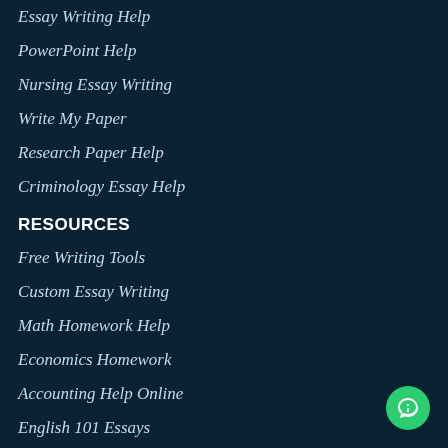Essay Writing Help
PowerPoint Help
Nursing Essay Writing
Write My Paper
Research Paper Help
Criminology Essay Help
RESOURCES
Free Writing Tools
Custom Essay Writing
Math Homework Help
Economics Homework
Accounting Help Online
English 101 Essays
Law Assignment Help